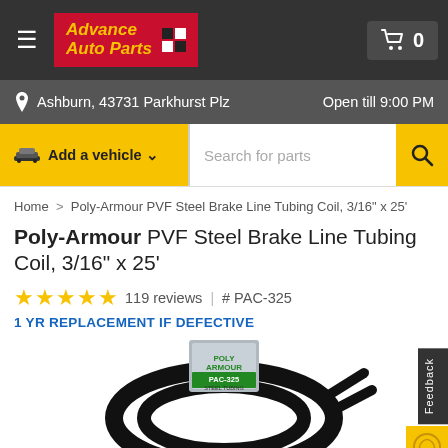[Figure (screenshot): Advance Auto Parts website header with logo, hamburger menu, and cart icon showing 0 items]
Ashburn, 43731 Parkhurst Plz
Open till 9:00 PM
Add a vehicle ∨
Search for parts
Home > Poly-Armour PVF Steel Brake Line Tubing Coil, 3/16" x 25'
Poly-Armour PVF Steel Brake Line Tubing Coil, 3/16" x 25'
★★★★★ 119 reviews | # PAC-325
1 YR REPLACEMENT IF DEFECTIVE
[Figure (photo): Black coiled brake line tubing (PAC-325 Steel Tubing) on white background]